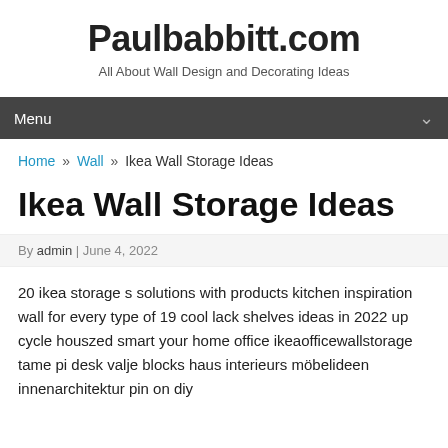Paulbabbitt.com
All About Wall Design and Decorating Ideas
Menu
Home » Wall » Ikea Wall Storage Ideas
Ikea Wall Storage Ideas
By admin | June 4, 2022
20 ikea storage s solutions with products kitchen inspiration wall for every type of 19 cool lack shelves ideas in 2022 up cycle houszed smart your home office ikeaofficewallstorage tame pi desk valje blocks haus interieurs möbelideen innenarchitektur pin on diy decor10 com to wait on floors here ones cool hid domino your kind do